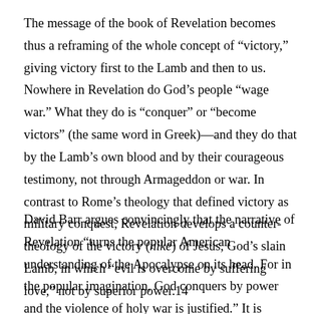The message of the book of Revelation becomes thus a reframing of the whole concept of “victory,” giving victory first to the Lamb and then to us. Nowhere in Revelation do God’s people “wage war.” What they do is “conquer” or “become victors” (the same word in Greek)—and they do that by the Lamb’s own blood and by their courageous testimony, not through Armageddon or war. In contrast to Rome’s theology that defined victory as military conquest, Revelation develops a counter-theology of the victory (nike) of Jesus, God’s slain Lamb, in which “evil is overcome by suffering love,” not by superior power.14
David Barr argues convincingly that the narrative of Revelation “turns the popular American understanding of the Apocalypse on its head. For in the popular imagination, God conquers by power and the violence of holy war is justified.” It is crucial to recall that